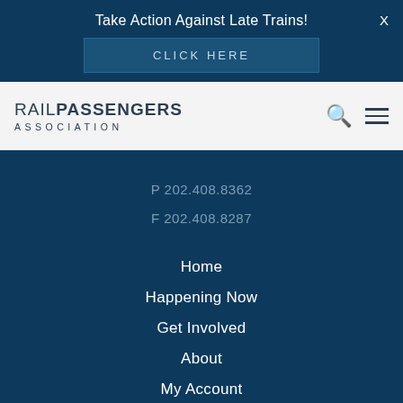Take Action Against Late Trains!
CLICK HERE
[Figure (logo): Rail Passengers Association logo with text RAIL PASSENGERS ASSOCIATION]
P 202.408.8362
F 202.408.8287
Home
Happening Now
Get Involved
About
My Account
Contact Us